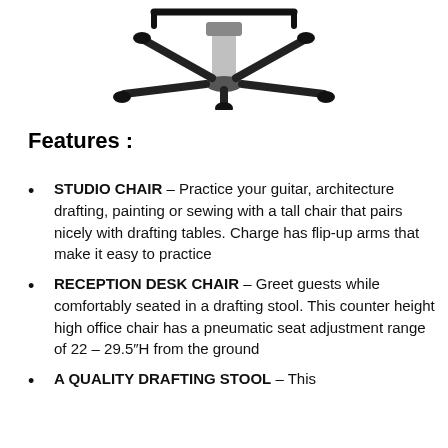[Figure (photo): Bottom portion of a studio/drafting chair showing the base with casters and the central column, viewed from below on a white background.]
Features :
STUDIO CHAIR – Practice your guitar, architecture drafting, painting or sewing with a tall chair that pairs nicely with drafting tables. Charge has flip-up arms that make it easy to practice
RECEPTION DESK CHAIR – Greet guests while comfortably seated in a drafting stool. This counter height high office chair has a pneumatic seat adjustment range of 22 – 29.5″H from the ground
A QUALITY DRAFTING STOOL – This